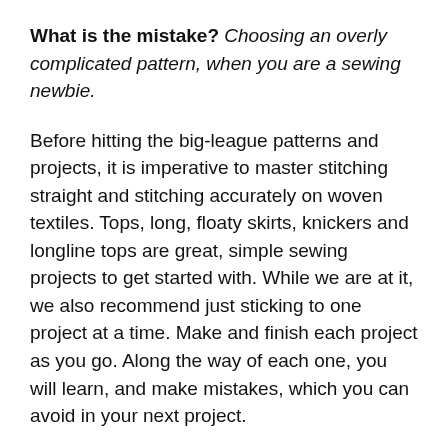What is the mistake? Choosing an overly complicated pattern, when you are a sewing newbie.
Before hitting the big-league patterns and projects, it is imperative to master stitching straight and stitching accurately on woven textiles. Tops, long, floaty skirts, knickers and longline tops are great, simple sewing projects to get started with. While we are at it, we also recommend just sticking to one project at a time. Make and finish each project as you go. Along the way of each one, you will learn, and make mistakes, which you can avoid in your next project.